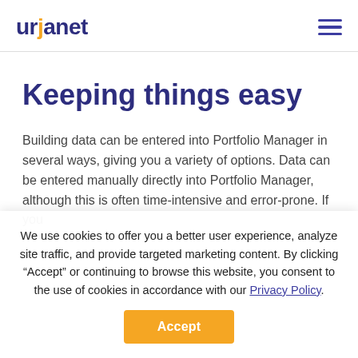urjanet
Keeping things easy
Building data can be entered into Portfolio Manager in several ways, giving you a variety of options. Data can be entered manually directly into Portfolio Manager, although this is often time-intensive and error-prone. If you
We use cookies to offer you a better user experience, analyze site traffic, and provide targeted marketing content. By clicking “Accept” or continuing to browse this website, you consent to the use of cookies in accordance with our Privacy Policy.